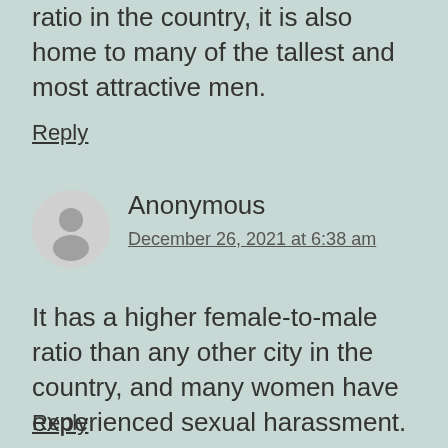ratio in the country, it is also home to many of the tallest and most attractive men.
Reply
Anonymous
December 26, 2021 at 6:38 am
It has a higher female-to-male ratio than any other city in the country, and many women have experienced sexual harassment.
Reply